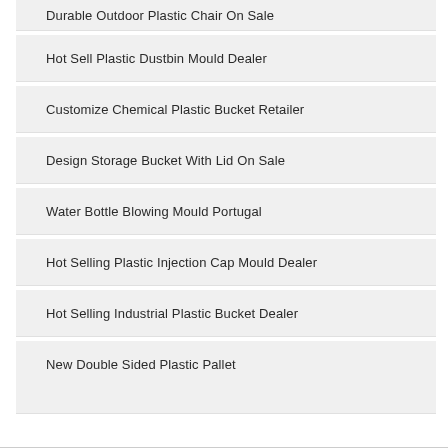Durable Outdoor Plastic Chair On Sale
Hot Sell Plastic Dustbin Mould Dealer
Customize Chemical Plastic Bucket Retailer
Design Storage Bucket With Lid On Sale
Water Bottle Blowing Mould Portugal
Hot Selling Plastic Injection Cap Mould Dealer
Hot Selling Industrial Plastic Bucket Dealer
New Double Sided Plastic Pallet